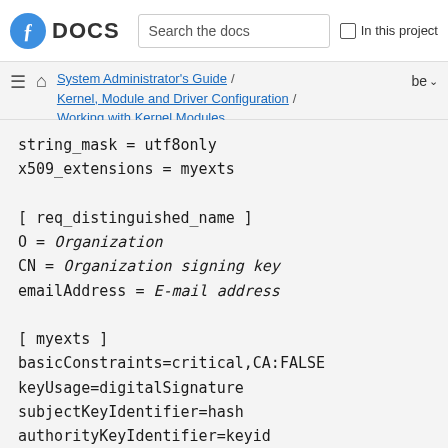Fedora DOCS | Search the docs | In this project
System Administrator's Guide / Kernel, Module and Driver Configuration / Working with Kernel Modules
string_mask = utf8only
x509_extensions = myexts

[ req_distinguished_name ]
O = Organization
CN = Organization signing key
emailAddress = E-mail address

[ myexts ]
basicConstraints=critical,CA:FALSE
keyUsage=digitalSignature
subjectKeyIdentifier=hash
authorityKeyIdentifier=keyid
EOF